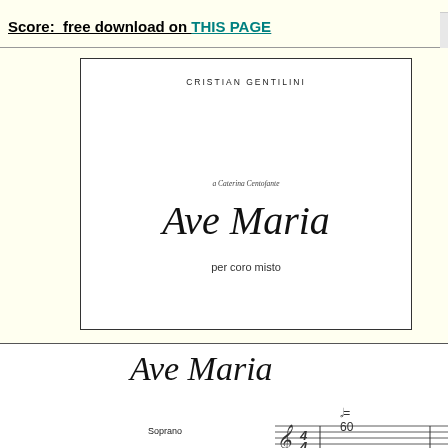Score: free download on THIS PAGE
[Figure (illustration): Music score cover page showing 'Ave Maria per coro misto' by Cristian Gentilini, with dedication 'a Caterina Centofante', displayed inside a bordered white box on a cream/yellow background.]
[Figure (other): Sheet music excerpt showing the beginning of Ave Maria for Soprano voice with treble clef, time signature 4/4, tempo marking half note = 60, Soprano part labeled.]